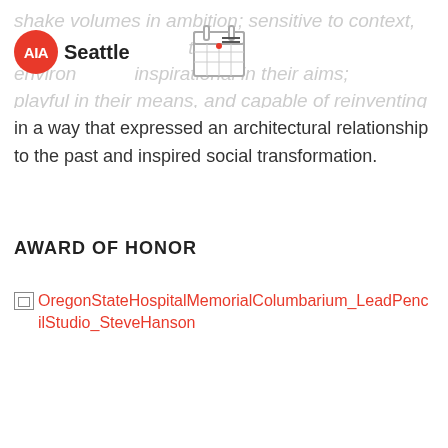AIA Seattle
shake volumes in ambition; sensitive to context, the environment; inspirational in their aims; playful in their means; and capable of reinventing space in a way that expressed an architectural relationship to the past and inspired social transformation.
AWARD OF HONOR
[Figure (photo): Broken image placeholder for OregonStateHospitalMemorialColumbarium_LeadPencilStudio_SteveHanson]